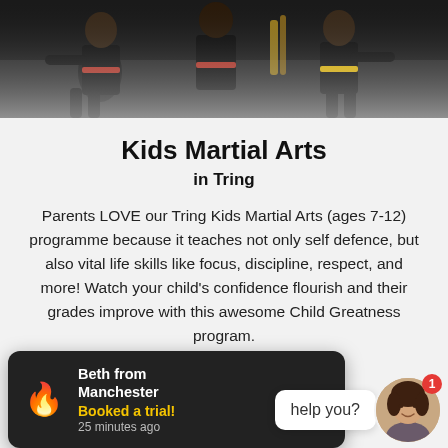[Figure (photo): Martial arts children in black uniforms with red and yellow belts in fighting stances]
Kids Martial Arts
in Tring
Parents LOVE our Tring Kids Martial Arts (ages 7-12) programme because it teaches not only self defence, but also vital life skills like focus, discipline, respect, and more! Watch your child's confidence flourish and their grades improve with this awesome Child Greatness program.
- DISCOVER -
Beth from Manchester
Booked a trial!
25 minutes ago
help you?